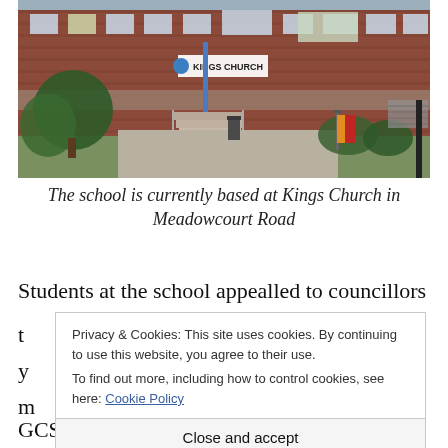[Figure (photo): Exterior photo of a brick school building with a sign reading KINGS CHURCH, trees in front, steps leading to entrance, a bin on the path, and colourful clothing on a rack to the right.]
The school is currently based at Kings Church in Meadowcourt Road
Students at the school appealled to councillors
t
Privacy & Cookies: This site uses cookies. By continuing to use this website, you agree to their use.
To find out more, including how to control cookies, see here: Cookie Policy
Close and accept
GCSEs to a brand new school with gaps in their